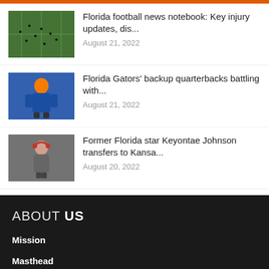Florida football news notebook: Key injury updates, dis...
August 21, 2022
Florida Gators' backup quarterbacks battling with...
August 21, 2022
Former Florida star Keyontae Johnson transfers to Kansa...
August 20, 2022
ABOUT US
Mission
Masthead
Adve...
Conta...
Save on Select Vitamins
Walgreens Photo